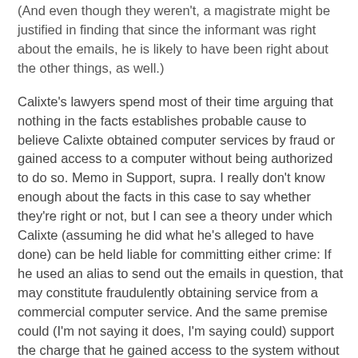(And even though they weren't, a magistrate might be justified in finding that since the informant was right about the emails, he is likely to have been right about the other things, as well.)
Calixte's lawyers spend most of their time arguing that nothing in the facts establishes probable cause to believe Calixte obtained computer services by fraud or gained access to a computer without being authorized to do so. Memo in Support, supra. I really don't know enough about the facts in this case to say whether they're right or not, but I can see a theory under which Calixte (assuming he did what he's alleged to have done) can be held liable for committing either crime: If he used an alias to send out the emails in question, that may constitute fraudulently obtaining service from a commercial computer service. And the same premise could (I'm not saying it does, I'm saying could) support the charge that he gained access to the system without being authorized to do so; under this theory, the argument would be that even though Calixte was authorized to use the system under his own name because he was a BC student, he was not authorized to use it while employing an alias.